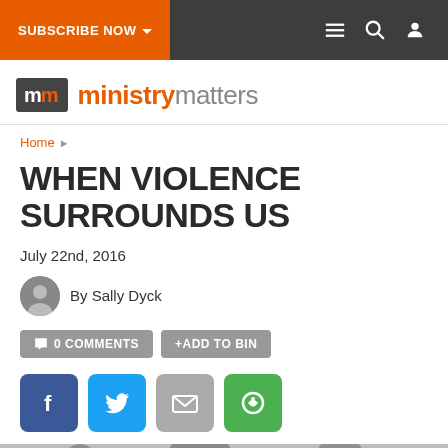SUBSCRIBE NOW | Navigation bar with menu, search, and user icons
[Figure (logo): Ministry Matters logo with mm icon in grey box and ministry (orange) matters (grey) text]
Home ▶
WHEN VIOLENCE SURROUNDS US
July 22nd, 2016
By Sally Dyck
0 COMMENTS   +ADD TO BIN
[Figure (screenshot): Social sharing buttons: Facebook (blue), Twitter (light blue), Email (grey), Share/refresh (green)]
[Figure (photo): Black and white photo of trees or forest scene, partially visible at bottom of page]